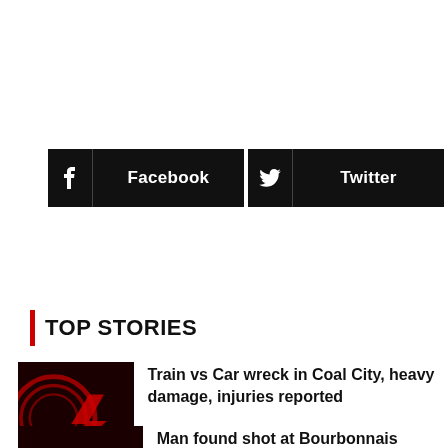[Figure (infographic): Social share buttons: Facebook (black button with f icon), Twitter (black button with bird icon), and a gray plus button]
TOP STORIES
[Figure (photo): Breaking news graphic with red abstract design on dark background, text BREAKING NEWS]
Train vs Car wreck in Coal City, heavy damage, injuries reported
[Figure (photo): Police car photo, partial view showing police markings]
Man found shot at Bourbonnais Apartment Tuesday night